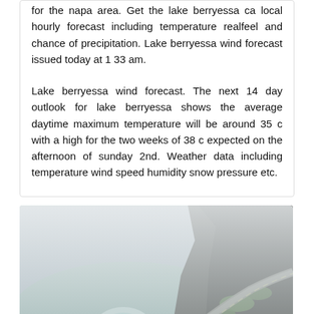for the napa area. Get the lake berryessa ca local hourly forecast including temperature realfeel and chance of precipitation. Lake berryessa wind forecast issued today at 1 33 am.

Lake berryessa wind forecast. The next 14 day outlook for lake berryessa shows the average daytime maximum temperature will be around 35 c with a high for the two weeks of 38 c expected on the afternoon of sunday 2nd. Weather data including temperature wind speed humidity snow pressure etc.
[Figure (photo): Aerial or elevated view of Lake Berryessa spillway (glory hole) with misty water flowing in, rocky cliff walls with a road running along them, and green vegetation, photographed in foggy/misty conditions.]